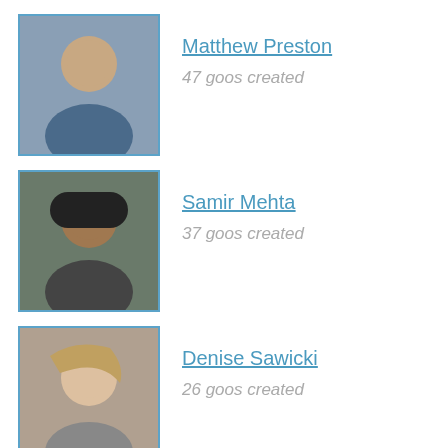Matthew Preston — 47 goos created
Samir Mehta — 37 goos created
Denise Sawicki — 26 goos created
LaVonne Lemler — 22 goos created
Justin Woods — 15 goos created
About Us
Funeretic offers games, contests, blogs, movie reviews,